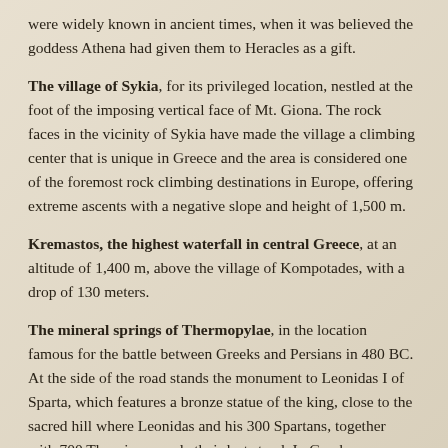were widely known in ancient times, when it was believed the goddess Athena had given them to Heracles as a gift.
The village of Sykia, for its privileged location, nestled at the foot of the imposing vertical face of Mt. Giona. The rock faces in the vicinity of Sykia have made the village a climbing center that is unique in Greece and the area is considered one of the foremost rock climbing destinations in Europe, offering extreme ascents with a negative slope and height of 1,500 m.
Kremastos, the highest waterfall in central Greece, at an altitude of 1,400 m, above the village of Kompotades, with a drop of 130 meters.
The mineral springs of Thermopylae, in the location famous for the battle between Greeks and Persians in 480 BC. At the side of the road stands the monument to Leonidas I of Sparta, which features a bronze statue of the king, close to the sacred hill where Leonidas and his 300 Spartans, together with 700 Thespians, made their last stand. In Greek mythology, the Greek god of fire